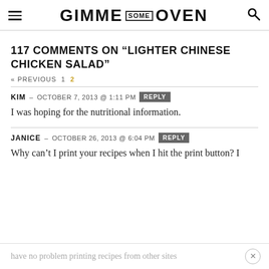GIMME SOME OVEN
117 COMMENTS ON “LIGHTER CHINESE CHICKEN SALAD”
« PREVIOUS  1  2
KIM – OCTOBER 7, 2013 @ 1:11 PM  REPLY
I was hoping for the nutritional information.
JANICE – OCTOBER 26, 2013 @ 6:04 PM  REPLY
Why can’t I print your recipes when I hit the print button? I
have no problem printing recipes from other sites